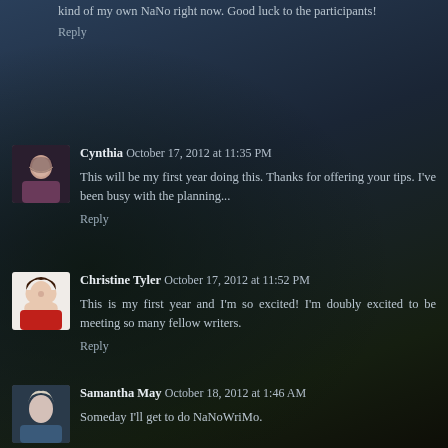kind of my own NaNo right now. Good luck to the participants!
Reply
Cynthia  October 17, 2012 at 11:35 PM
This will be my first year doing this. Thanks for offering your tips. I've been busy with the planning...
Reply
Christine Tyler  October 17, 2012 at 11:52 PM
This is my first year and I'm so excited! I'm doubly excited to be meeting so many fellow writers.
Reply
Samantha May  October 18, 2012 at 1:46 AM
Someday I'll get to do NaNoWriMo.